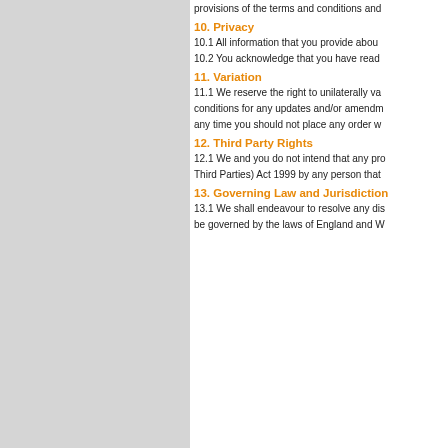provisions of the terms and conditions and...
10. Privacy
10.1 All information that you provide abou...
10.2 You acknowledge that you have read...
11. Variation
11.1 We reserve the right to unilaterally va... conditions for any updates and/or amendm... any time you should not place any order w...
12. Third Party Rights
12.1 We and you do not intend that any pr... Third Parties) Act 1999 by any person that...
13. Governing Law and Jurisdiction
13.1 We shall endeavour to resolve any dis... be governed by the laws of England and W...
[Figure (infographic): Guarantee bar with icons: smiley face with MONEY-BACK GUARANTEE, refresh icon with SATISFIED OR REFUNDED, and a third partially visible icon]
Home | Safety workwear | About Us | Delive... Copyright 2012 Projobdistribution, all rights r...